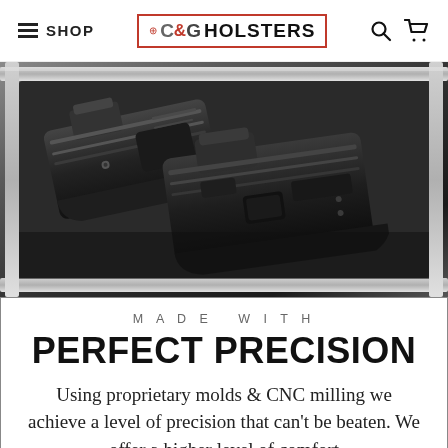SHOP | C&G HOLSTERS
[Figure (photo): Close-up photo of two black polymer holsters displayed in an open carrying case with silver metal frame. The holsters are precision-molded black plastic components arranged side by side.]
MADE WITH
PERFECT PRECISION
Using proprietary molds & CNC milling we achieve a level of precision that can't be beaten. We offer a higher level of comfort